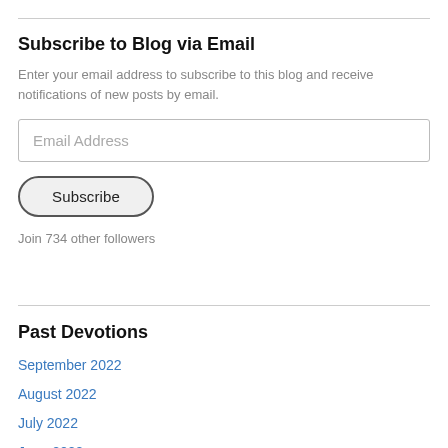Subscribe to Blog via Email
Enter your email address to subscribe to this blog and receive notifications of new posts by email.
Join 734 other followers
Past Devotions
September 2022
August 2022
July 2022
June 2022
May 2022